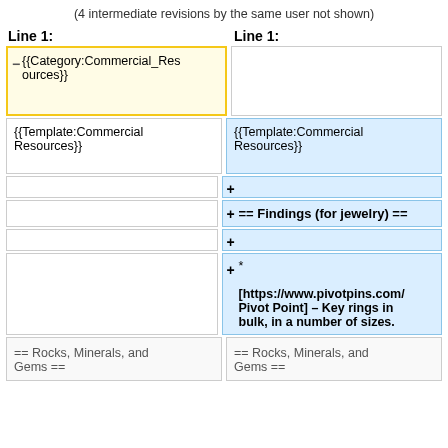(4 intermediate revisions by the same user not shown)
Line 1: (left column header)
Line 1: (right column header)
{{Category:Commercial_Resources}} (deleted block, left)
{{Template:Commercial Resources}} (left plain)
{{Template:Commercial Resources}} (right plain)
+ (empty added line)
+ == Findings (for jewelry) ==
+ (empty added line)
+ * [https://www.pivotpins.com/ Pivot Point] – Key rings in bulk, in a number of sizes.
== Rocks, Minerals, and Gems == (left bottom)
== Rocks, Minerals, and Gems == (right bottom)